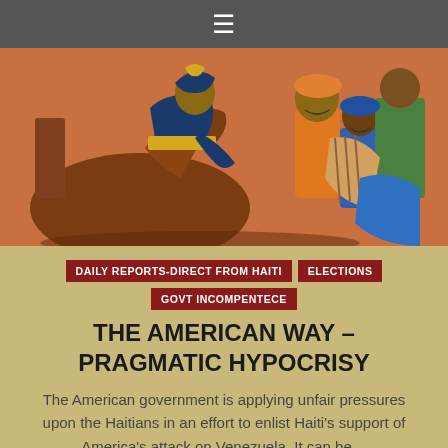≡
[Figure (illustration): Colorful painting depicting a soldier on horseback with a yellow belt/sash, surrounded by crowd figures in bright colors including orange, blue and striped clothing, in a historical/revolutionary scene style.]
DAILY REPORTS-DIRECT FROM HAITI
ELECTIONS
GOVT INCOMPENTECE
THE AMERICAN WAY – PRAGMATIC HYPOCRISY
The American government is applying unfair pressures upon the Haitians in an effort to enlist Haiti's support of America's attack on Venezuela. It can be…